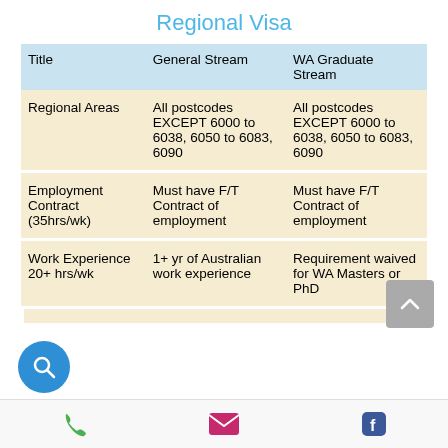Regional Visa
| Title | General Stream | WA Graduate Stream |
| --- | --- | --- |
| Regional Areas | All postcodes EXCEPT 6000 to 6038, 6050 to 6083, 6090 | All postcodes EXCEPT 6000 to 6038, 6050 to 6083, 6090 |
| Employment Contract (35hrs/wk) | Must have F/T Contract of employment | Must have F/T Contract of employment |
| Work Experience 20+ hrs/wk | 1+ yr of Australian work experience | Requirement waived for WA Masters or PhD |